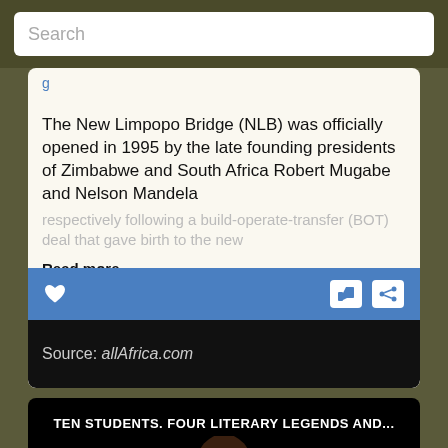Search
The New Limpopo Bridge (NLB) was officially opened in 1995 by the late founding presidents of Zimbabwe and South Africa Robert Mugabe and Nelson Mandela
respectively following a build-operate-transfer (BOT) deal that gave birth to the new
Read more
Source: allAfrica.com
[Figure (screenshot): Video thumbnail with black background showing text 'TEN STUDENTS. FOUR LITERARY LEGENDS AND...' and an illustrated figure of a person wearing glasses]